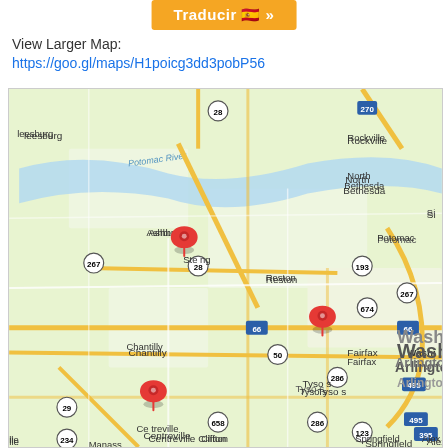Open Only class ... day 3:30 pm/
Traducir »
View Larger Map:
https://goo.gl/maps/H1poicg3dd3pobP56
[Figure (map): Google Map showing Northern Virginia and Maryland area near Washington DC, with red location pins at Sterling, Tysons, and Centreville. Visible labels include Leesburg, Potomac River, Ashburn, Sterling, Rockville, North Bethesda, Potomac, Reston, Chantilly, Fairfax, Tyson's, Arlington, Washington, Centreville, Springfield, Clifton, Alex, and various route numbers: 28, 270, 267, 193, 674, 267, 50, 66, 286, 658, 286, 123, 29, 234, 395, 495.]